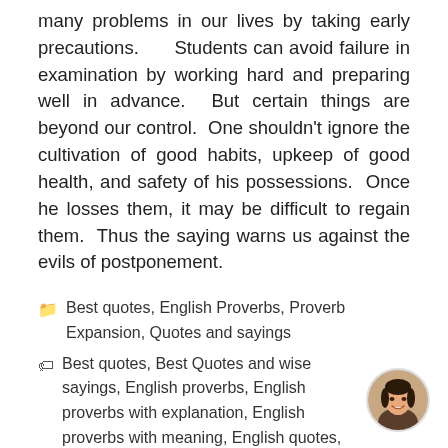many problems in our lives by taking early precautions.      Students can avoid failure in examination by working hard and preparing well in advance.  But certain things are beyond our control.  One shouldn't ignore the cultivation of good habits, upkeep of good health, and safety of his possessions.  Once he losses them, it may be difficult to regain them.  Thus the saying warns us against the evils of postponement.
Best quotes, English Proverbs, Proverb Expansion, Quotes and sayings
Best quotes, Best Quotes and wise sayings, English proverbs, English proverbs with explanation, English proverbs with meaning, English quotes, Essay writing Topics, expansion,
[Figure (photo): Circular avatar photo of a smiling young woman]